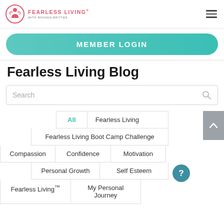[Figure (logo): Fearless Living with Rhonda Britten logo — circular icon with person figure in coral/pink, text FEARLESS LIVING in pink letters, WITH RHONDA BRITTEN in small grey text below]
Fearless Living Blog
Search
All
Fearless Living
Fearless Living Boot Camp Challenge
Compassion
Confidence
Motivation
Personal Growth
Self Esteem
Fearless Living™
My Personal Journey